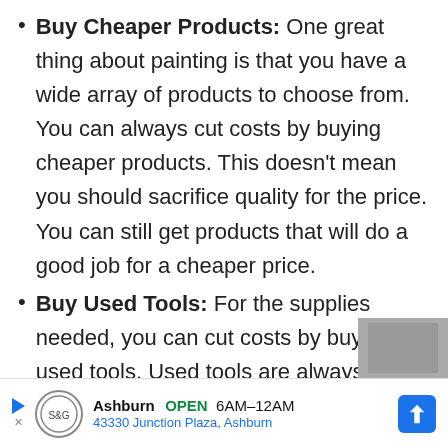Buy Cheaper Products: One great thing about painting is that you have a wide array of products to choose from. You can always cut costs by buying cheaper products. This doesn't mean you should sacrifice quality for the price. You can still get products that will do a good job for a cheaper price.
Buy Used Tools: For the supplies needed, you can cut costs by buying used tools. Used tools are always
[Figure (other): Partial image stub visible at bottom right]
Ashburn OPEN 6AM–12AM 43330 Junction Plaza, Ashburn